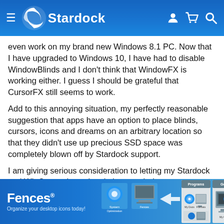Stardock navigation bar with logo, hamburger menu, and icons
even work on my brand new Windows 8.1 PC. Now that I have upgraded to Windows 10, I have had to disable WindowBlinds and I don't think that WindowFX is working either. I guess I should be grateful that CursorFX still seems to work.
Add to this annoying situation, my perfectly reasonable suggestion that apps have an option to place blinds, cursors, icons and dreams on an arbitrary location so that they didn't use up precious SSD space was completely blown off by Stardock support.
I am giving serious consideration to letting my Stardock and WinCustomize subscriptions expire!
[Figure (screenshot): Fences advertisement banner with blue gradient background showing Fences logo text, tagline 'Organize your desktop icons today!' and screenshot of desktop icon organizer application]